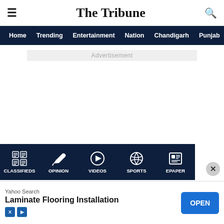The Tribune
Home  Trending  Entertainment  Nation  Chandigarh  Punjab
Advertisement
CLASSIFIEDS  OPINION  VIDEOS  SPORTS  EPAPER
Yahoo Search  Laminate Flooring Installation  OPEN